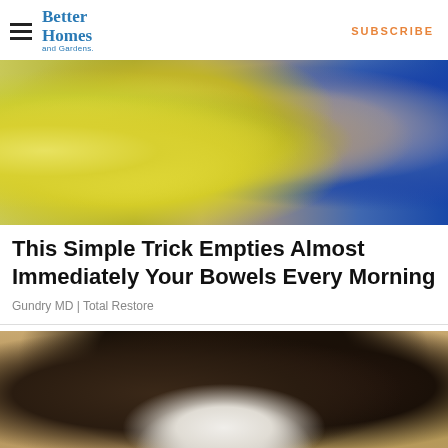Better Homes and Gardens | SUBSCRIBE
[Figure (photo): Person in blue top peeling a yellow banana, close-up shot]
This Simple Trick Empties Almost Immediately Your Bowels Every Morning
Gundry MD | Total Restore
[Figure (photo): An outdoor wall-mounted lantern light fixture with a white bulb against a textured stucco wall]